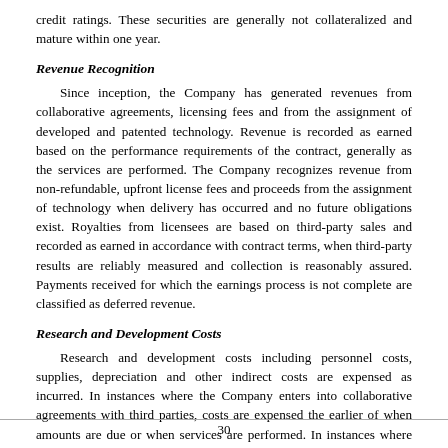credit ratings. These securities are generally not collateralized and mature within one year.
Revenue Recognition
Since inception, the Company has generated revenues from collaborative agreements, licensing fees and from the assignment of developed and patented technology. Revenue is recorded as earned based on the performance requirements of the contract, generally as the services are performed. The Company recognizes revenue from non-refundable, upfront license fees and proceeds from the assignment of technology when delivery has occurred and no future obligations exist. Royalties from licensees are based on third-party sales and recorded as earned in accordance with contract terms, when third-party results are reliably measured and collection is reasonably assured. Payments received for which the earnings process is not complete are classified as deferred revenue.
Research and Development Costs
Research and development costs including personnel costs, supplies, depreciation and other indirect costs are expensed as incurred. In instances where the Company enters into collaborative agreements with third parties, costs are expensed the earlier of when amounts are due or when services are performed. In instances where the Company enters into agreements with third parties for research and/or clinical trial activities, costs are expensed the earlier of when amounts are due or when services are performed.
30